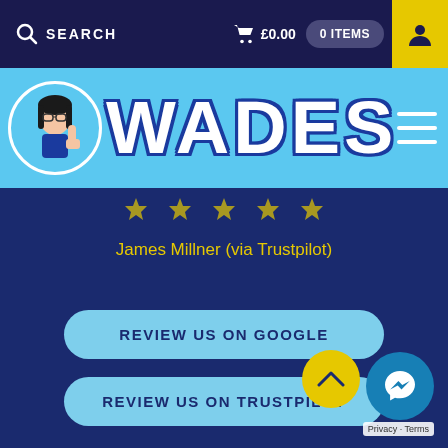SEARCH  £0.00  0 ITEMS
[Figure (logo): Wades logo with cartoon character and WADES text on blue background]
[Figure (illustration): Five yellow star rating (partially visible at top)]
James Millner (via Trustpilot)
REVIEW US ON GOOGLE
REVIEW US ON TRUSTPILOT
Privacy · Terms